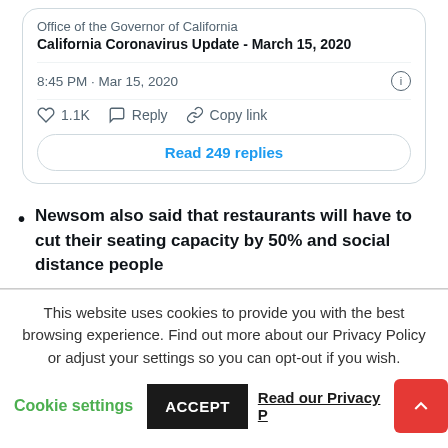[Figure (screenshot): Tweet card from Office of the Governor of California titled 'California Coronavirus Update - March 15, 2020', with timestamp 8:45 PM · Mar 15, 2020, showing 1.1K likes, Reply, Copy link actions, and a 'Read 249 replies' button]
Newsom also said that restaurants will have to cut their seating capacity by 50% and social distance people
This website uses cookies to provide you with the best browsing experience. Find out more about our Privacy Policy or adjust your settings so you can opt-out if you wish.
Cookie settings   ACCEPT   Read our Privacy P